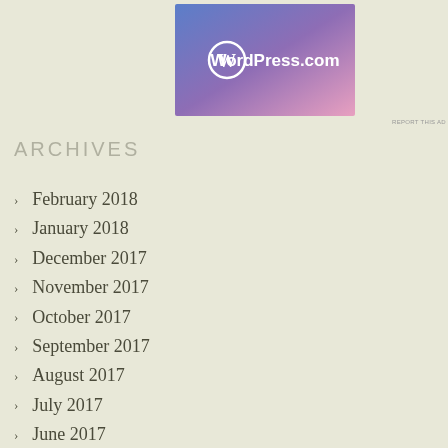[Figure (logo): WordPress.com advertisement banner with blue-to-pink gradient background and WordPress logo with text 'WordPress.com' in white]
REPORT THIS AD
ARCHIVES
February 2018
January 2018
December 2017
November 2017
October 2017
September 2017
August 2017
July 2017
June 2017